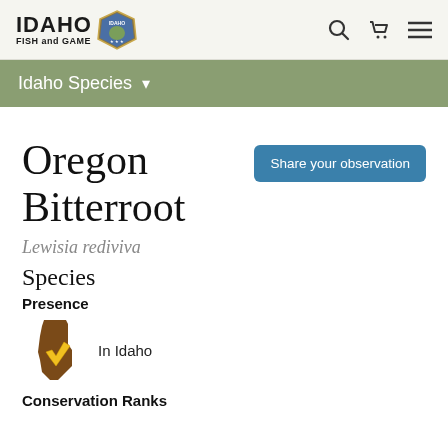IDAHO FISH and GAME
Idaho Species
Oregon Bitterroot
Share your observation
Lewisia rediviva
Species
Presence
[Figure (illustration): Idaho state shape icon with a yellow checkmark, indicating species presence in Idaho]
In Idaho
Conservation Ranks